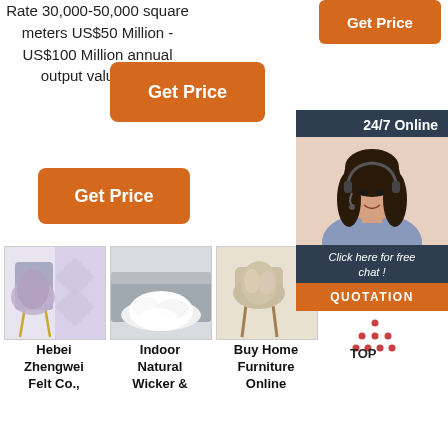Rate 30,000-50,000 square meters US$50 Million - US$100 Million annual output value 1 …
[Figure (other): Orange 'Get Price' button top right]
[Figure (other): Orange 'Get Price' button middle]
[Figure (other): Orange 'Get Price' button lower left]
[Figure (other): 24/7 Online chat widget with agent photo and QUOTATION button]
[Figure (photo): Sheepskin rug on a chair - Hebei Zhengwei Felt Co. product]
[Figure (photo): White sheepskin rug on bed - Indoor Natural Wicker & product]
[Figure (photo): Sheepskin rug on wooden chair - Buy Home Furniture Online product]
Hebei Zhengwei Felt Co.,
Indoor Natural Wicker &
Buy Home Furniture Online